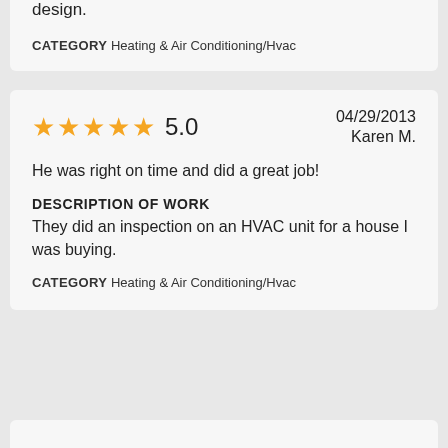design.
CATEGORY Heating & Air Conditioning/Hvac
5.0  04/29/2013  Karen M.
He was right on time and did a great job!
DESCRIPTION OF WORK
They did an inspection on an HVAC unit for a house I was buying.
CATEGORY Heating & Air Conditioning/Hvac